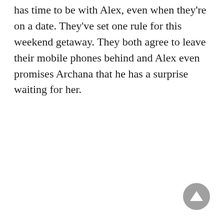has time to be with Alex, even when they're on a date. They've set one rule for this weekend getaway. They both agree to leave their mobile phones behind and Alex even promises Archana that he has a surprise waiting for her.
[Figure (other): A circular gray scroll-to-top button with an upward-pointing triangle arrow, positioned in the bottom-right corner of the page.]